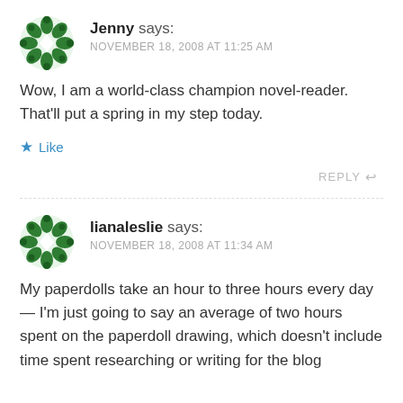[Figure (illustration): Green decorative avatar icon with snowflake/cross pattern for user Jenny]
Jenny says:
NOVEMBER 18, 2008 AT 11:25 AM
Wow, I am a world-class champion novel-reader. That'll put a spring in my step today.
★ Like
REPLY ↩
[Figure (illustration): Green decorative avatar icon with snowflake/cross pattern for user lianaleslie]
lianaleslie says:
NOVEMBER 18, 2008 AT 11:34 AM
My paperdolls take an hour to three hours every day — I'm just going to say an average of two hours spent on the paperdoll drawing, which doesn't include time spent researching or writing for the blog